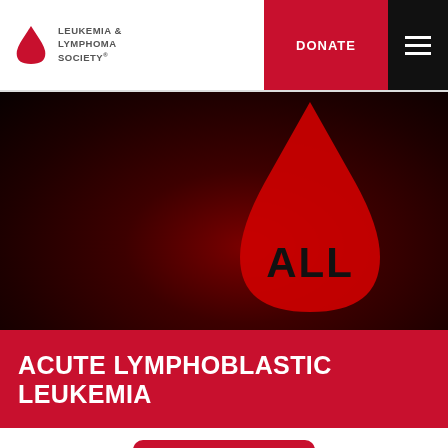[Figure (logo): Leukemia & Lymphoma Society logo with red blood drop icon and organization name text]
[Figure (illustration): Dark red banner with a large red blood drop shape containing the text 'ALL' representing Acute Lymphoblastic Leukemia]
ACUTE LYMPHOBLASTIC LEUKEMIA
LEUKEMIA
Chat